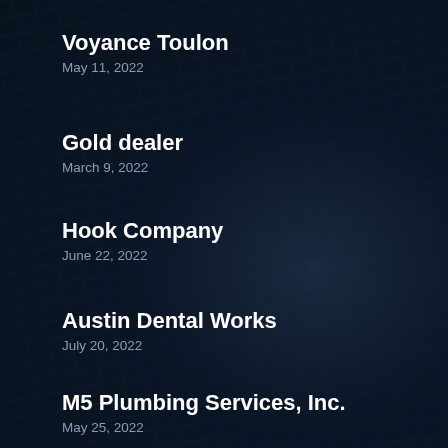Voyance Toulon
May 11, 2022
Gold dealer
March 9, 2022
Hook Company
June 22, 2022
Austin Dental Works
July 20, 2022
M5 Plumbing Services, Inc.
May 25, 2022